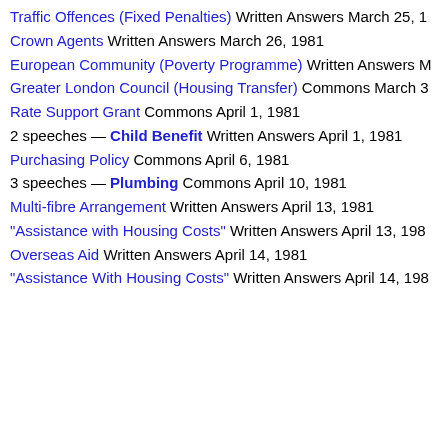Traffic Offences (Fixed Penalties) Written Answers March 25, …
Crown Agents Written Answers March 26, 1981
European Community (Poverty Programme) Written Answers M…
Greater London Council (Housing Transfer) Commons March 3…
Rate Support Grant Commons April 1, 1981
2 speeches — Child Benefit Written Answers April 1, 1981
Purchasing Policy Commons April 6, 1981
3 speeches — Plumbing Commons April 10, 1981
Multi-fibre Arrangement Written Answers April 13, 1981
"Assistance with Housing Costs" Written Answers April 13, 198…
Overseas Aid Written Answers April 14, 1981
"Assistance With Housing Costs" Written Answers April 14, 198…